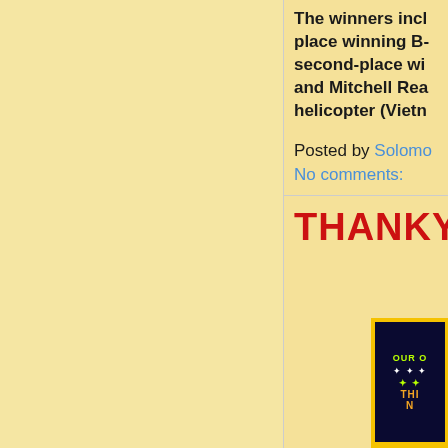The winners incl place winning B- second-place wi and Mitchell Rea helicopter (Vietn
Posted by Solomo
No comments:
THANKYO
[Figure (photo): Image with dark background showing 'OUR O' and 'THI N' text with stars, framed in yellow/gold border]